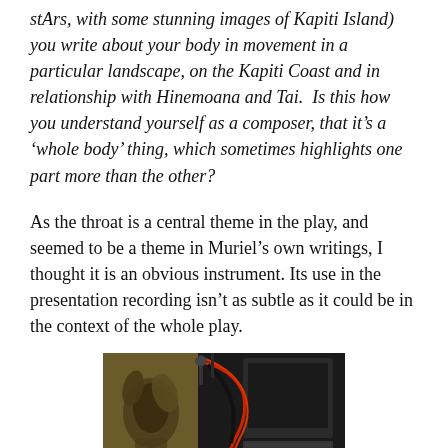stArs, with some stunning images of Kapiti Island) you write about your body in movement in a particular landscape, on the Kapiti Coast and in relationship with Hinemoana and Tai.  Is this how you understand yourself as a composer, that it's a 'whole body' thing, which sometimes highlights one part more than the other?
As the throat is a central theme in the play, and seemed to be a theme in Muriel's own writings, I thought it is an obvious instrument. Its use in the presentation recording isn't as subtle as it could be in the context of the whole play.
[Figure (photo): A person leaning over audio equipment with cables visible, in a dark setting with decorative artwork visible on the left side]